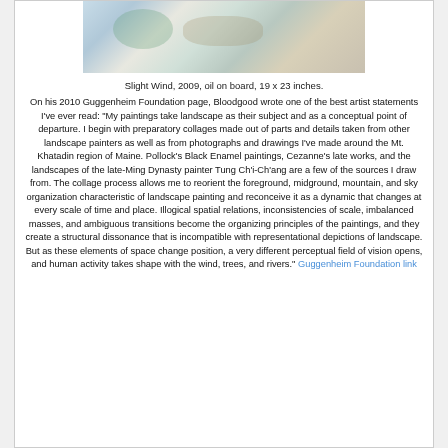[Figure (photo): Partial view of painting 'Slight Wind, 2009, oil on board, 19 x 23 inches' showing abstract landscape with muted blues, greens, and grays with gestural marks]
Slight Wind, 2009, oil on board, 19 x 23 inches.
On his 2010 Guggenheim Foundation page, Bloodgood wrote one of the best artist statements I've ever read: "My paintings take landscape as their subject and as a conceptual point of departure. I begin with preparatory collages made out of parts and details taken from other landscape painters as well as from photographs and drawings I've made around the Mt. Khatadin region of Maine. Pollock's Black Enamel paintings, Cezanne's late works, and the landscapes of the late-Ming Dynasty painter Tung Ch'i-Ch'ang are a few of the sources I draw from. The collage process allows me to reorient the foreground, midground, mountain, and sky organization characteristic of landscape painting and reconceive it as a dynamic that changes at every scale of time and place. Illogical spatial relations, inconsistencies of scale, imbalanced masses, and ambiguous transitions become the organizing principles of the paintings, and they create a structural dissonance that is incompatible with representational depictions of landscape. But as these elements of space change position, a very different perceptual field of vision opens, and human activity takes shape with the wind, trees, and rivers." Guggenheim Foundation link